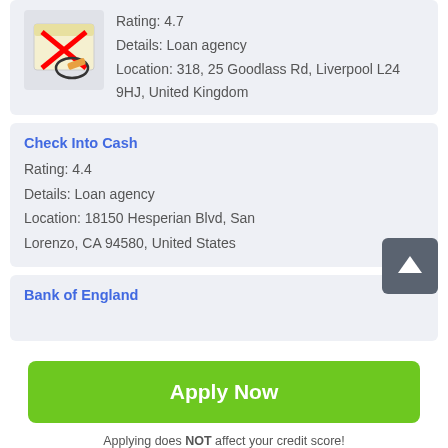Rating: 4.7
Details: Loan agency
Location: 318, 25 Goodlass Rd, Liverpool L24 9HJ, United Kingdom
Check Into Cash
Rating: 4.4
Details: Loan agency
Location: 18150 Hesperian Blvd, San Lorenzo, CA 94580, United States
Bank of England
Apply Now
Applying does NOT affect your credit score!
No credit check to apply.